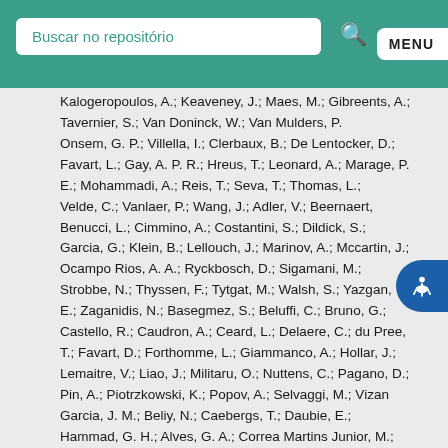Buscar no repositório
Kalogeropoulos, A.; Keaveney, J.; Maes, M.; Gibreents, A.; Tavernier, S.; Van Doninck, W.; Van Mulders, P.; Onsem, G. P.; Villella, I.; Clerbaux, B.; De Lentdecker, D.; Favart, L.; Gay, A. P. R.; Hreus, T.; Leonard, A.; Marage, P. E.; Mohammadi, A.; Reis, T.; Seva, T.; Thomas, L.; Velde, C.; Vanlaer, P.; Wang, J.; Adler, V.; Beernaert, K.; Benucci, L.; Cimmino, A.; Costantini, S.; Dildick, S.; Garcia, G.; Klein, B.; Lellouch, J.; Marinov, A.; Mccartin, J.; Ocampo Rios, A. A.; Ryckbosch, D.; Sigamani, M.; Strobbe, N.; Thyssen, F.; Tytgat, M.; Walsh, S.; Yazgan, E.; Zaganidis, N.; Basegmez, S.; Beluffi, C.; Bruno, G.; Castello, R.; Caudron, A.; Ceard, L.; Delaere, C.; du Pree, T.; Favart, D.; Forthomme, L.; Giammanco, A.; Hollar, J.; Lemaitre, V.; Liao, J.; Militaru, O.; Nuttens, C.; Pagano, D.; Pin, A.; Piotrzkowski, K.; Popov, A.; Selvaggi, M.; Vizan Garcia, J. M.; Beliy, N.; Caebergs, T.; Daubie, E.; Hammad, G. H.; Alves, G. A.; Correa Martins Junior, M.; Martins, T.; Pol, M. E.; Souza, M. H. G.; Alda Junior, W. L.; Carvalho, W.; Chinellato, J.; Custodio, A.; Da Costa, E. M.